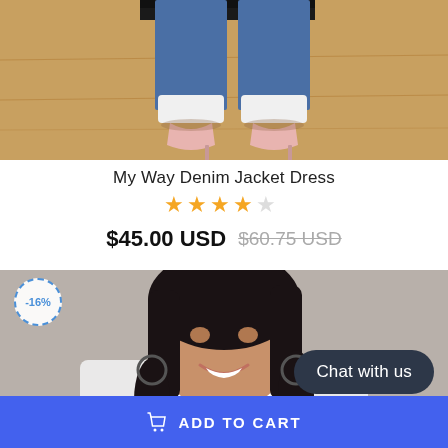[Figure (photo): Bottom portion of a model's legs wearing white socks and pink heels on a wooden floor background]
My Way Denim Jacket Dress
★★★★☆ (4 out of 5 stars rating)
$45.00 USD  $60.75 USD (strikethrough)
[Figure (photo): A smiling woman with long black hair wearing a white top, with a -16% discount badge in the upper left corner]
Chat with us
ADD TO CART